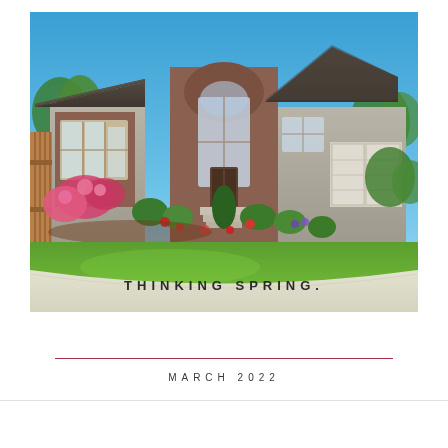[Figure (photo): Exterior of a large suburban house with brick and siding facade, gray shingled roof, arched entry, large bay window with pink flowering shrubs, manicured green lawn, landscaped front yard with colorful flowers, wood fence on left, two-car garage on right, clear blue sky]
THINKING SPRING.
MARCH 2022
Thinking Spring